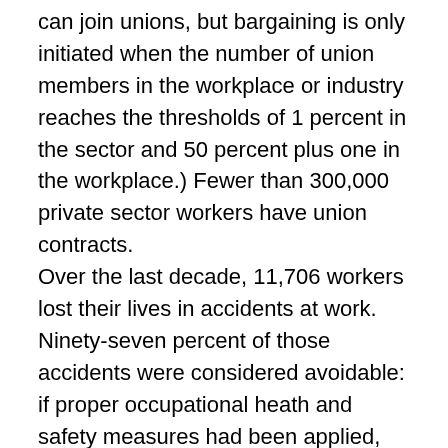can join unions, but bargaining is only initiated when the number of union members in the workplace or industry reaches the thresholds of 1 percent in the sector and 50 percent plus one in the workplace.) Fewer than 300,000 private sector workers have union contracts. Over the last decade, 11,706 workers lost their lives in accidents at work. Ninety-seven percent of those accidents were considered avoidable: if proper occupational heath and safety measures had been applied, the workers would not be dead. If we compare the figures with the European level, conditions in Turkey are desperate. According to Eurostat, in 2007 Turkey had 12.3 deaths per 100,000 workers. The European Union average was 2.1. And these are just the deaths that could be recorded in registered workplaces. The real numbers are far more: in